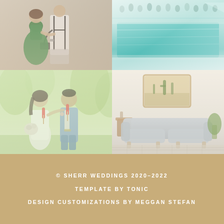[Figure (photo): Top-left: A couple posing — man in white shirt with black suspenders, woman in green ruffled dress, outdoors with neutral background]
[Figure (photo): Top-right: Aerial/wide view of an outdoor event venue with a pool and crowd of guests in the background]
[Figure (photo): Bottom-left: Bride in white dress holding bouquet and groom in blue suit sharing popsicles outdoors on green lawn]
[Figure (photo): Bottom-right: Interior room with a light grey sofa, painting on wall, and plants — bright airy feel]
© SHERR WEDDINGS 2020–2022
TEMPLATE BY TONIC
DESIGN CUSTOMIZATIONS BY MEGGAN STEFAN